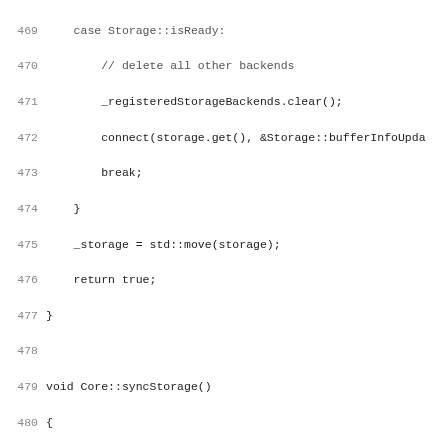Source code listing, lines 469-501, C++ code for Core storage and authenticator methods